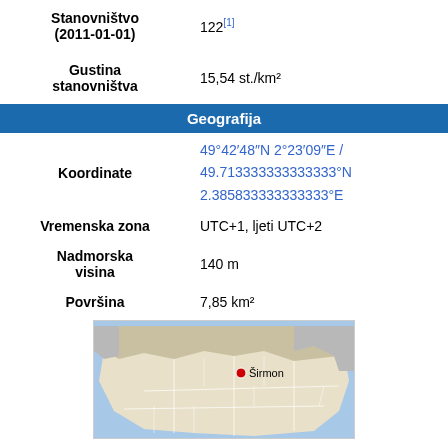| Field | Value |
| --- | --- |
| Stanovništvo (2011-01-01) | 122[1] |
| Gustina stanovništva | 15,54 st./km² |
| Geografija |  |
| Koordinate | 49°42′48″N 2°23′09″E / 49.713333333333333°N 2.385833333333333°E |
| Vremenska zona | UTC+1, ljeti UTC+2 |
| Nadmorska visina | 140 m |
| Površina | 7,85 km² |
[Figure (map): Map showing location of Širmon in France/Normandy region with red dot marker and label 'Širmon']